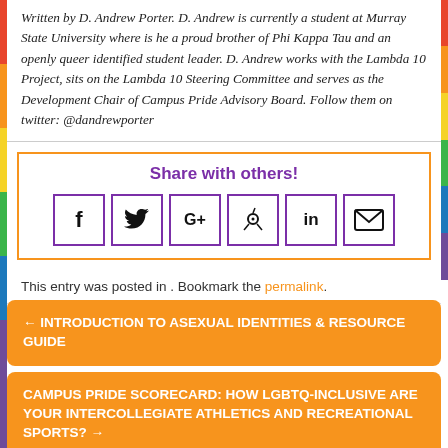Written by D. Andrew Porter. D. Andrew is currently a student at Murray State University where is he a proud brother of Phi Kappa Tau and an openly queer identified student leader. D. Andrew works with the Lambda 10 Project, sits on the Lambda 10 Steering Committee and serves as the Development Chair of Campus Pride Advisory Board. Follow them on twitter: @dandrewporter
[Figure (infographic): Share with others box with orange border containing purple 'Share with others!' heading and six social media icon buttons (Facebook, Twitter, Google+, Pinterest, LinkedIn, Email) with purple borders]
This entry was posted in . Bookmark the permalink.
← INTRODUCTION TO ASEXUAL IDENTITIES & RESOURCE GUIDE
CAMPUS PRIDE SCORECARD: HOW LGBTQ-INCLUSIVE ARE YOUR INTERCOLLEGIATE ATHLETICS AND RECREATIONAL SPORTS? →